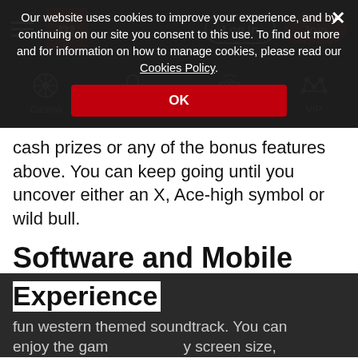Log In | Join
[Figure (screenshot): Navigation icon bar with Casino, Live Casino, Promotions, VIP icons on dark background]
cash prizes or any of the bonus features above. You can keep going until you uncover either an X, Ace-high symbol or wild bull.
Software and Mobile
Experience
fun western themed soundtrack. You can enjoy the gam[e on any] screen size,
Our website uses cookies to improve your experience, and by continuing on our site you consent to this use. To find out more and for information on how to manage cookies, please read our Cookies Policy.